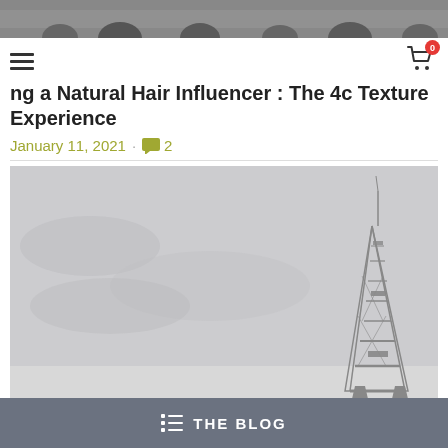[Figure (photo): Top strip photo showing a crowd of people]
ng a Natural Hair Influencer : The 4c Texture Experience
January 11, 2021 · 💬 2
[Figure (photo): Photo of the Eiffel Tower against a grey overcast sky]
THE BLOG